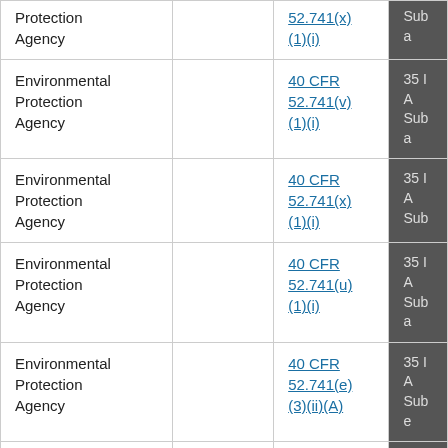| Agency |  | Citation |  |
| --- | --- | --- | --- |
| Protection Agency |  | 52.741(x)(1)(i) | Sub... |
| Environmental Protection Agency |  | 40 CFR 52.741(v)(1)(i) | 35 I A Sub... a |
| Environmental Protection Agency |  | 40 CFR 52.741(x)(1)(i) | 35 I A Sub... |
| Environmental Protection Agency |  | 40 CFR 52.741(u)(1)(i) | 35 I A Sub... a |
| Environmental Protection Agency |  | 40 CFR 52.741(e)(3)(ii)(A) | 35 I A Sub... e |